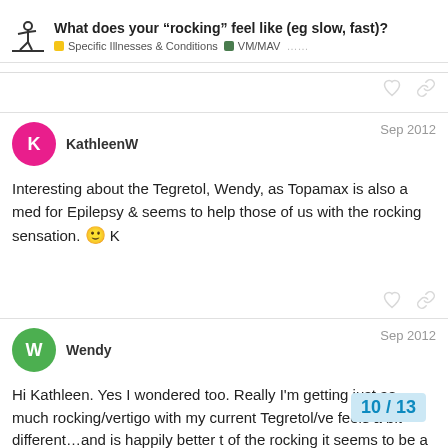What does your “rocking” feel like (eg slow, fast)? | Specific Illnesses & Conditions | VM/MAV
Interesting about the Tegretol, Wendy, as Topamax is also a med for Epilepsy & seems to help those of us with the rocking sensation. 🙂 K
Hi Kathleen. Yes I wondered too. Really I'm getting just as much rocking/vertigo with my current Tegretol/ve... feels a bit different...and is happily better t... of the rocking it seems to be a bit diff...